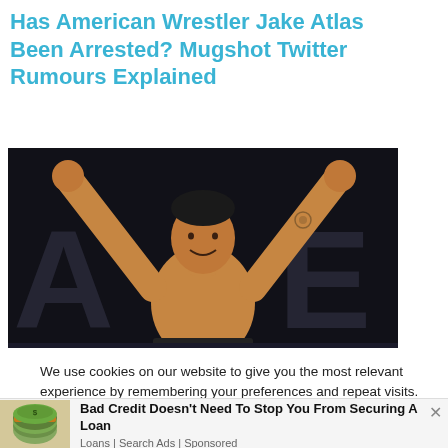Has American Wrestler Jake Atlas Been Arrested? Mugshot Twitter Rumours Explained
[Figure (photo): Jake Atlas, a shirtless male wrestler, raising both arms above his head in celebration on stage with dark background and partial letters visible]
We use cookies on our website to give you the most relevant experience by remembering your preferences and repeat visits. By clicking "Accept All", you consent to the use of ALL the cookies. However, you may visit "Cookie Settings" to provide a controlled consent.
[Figure (photo): Advertisement image of a rolled-up bundle of US dollar bills]
Bad Credit Doesn't Need To Stop You From Securing A Loan
Loans | Search Ads | Sponsored